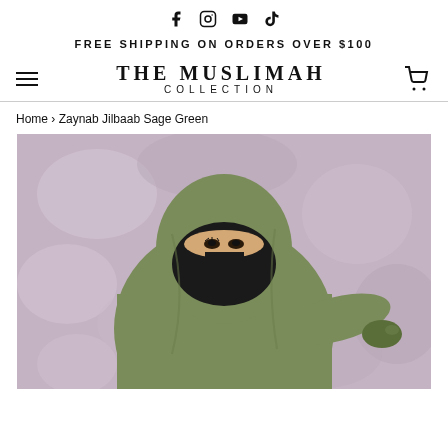Social media icons: Facebook, Instagram, YouTube, TikTok
FREE SHIPPING ON ORDERS OVER $100
THE MUSLIMAH COLLECTION
Home › Zaynab Jilbaab Sage Green
[Figure (photo): A woman wearing a sage green jilbaab and black niqab, posed against a mottled lavender/grey background, with one arm extended outward.]